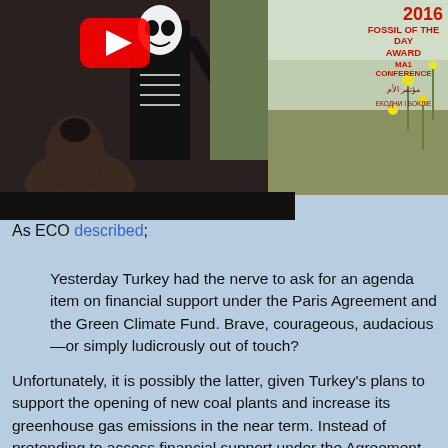[Figure (photo): Video thumbnail showing a person in a skeleton costume at a conference with a YouTube play button overlay. A banner in the top right shows '2016 MA1 FOSSIL OF THE DAY AWARD CONFERENCE' text with Arabic script.]
As ECO described;
Yesterday Turkey had the nerve to ask for an agenda item on financial support under the Paris Agreement and the Green Climate Fund. Brave, courageous, audacious—or simply ludicrously out of touch?
Unfortunately, it is possibly the latter, given Turkey's plans to support the opening of new coal plants and increase its greenhouse gas emissions in the near term. Instead of pretending to access financial support under the Agreement, Turkey should do the simple 1, 2, 3: ratify,